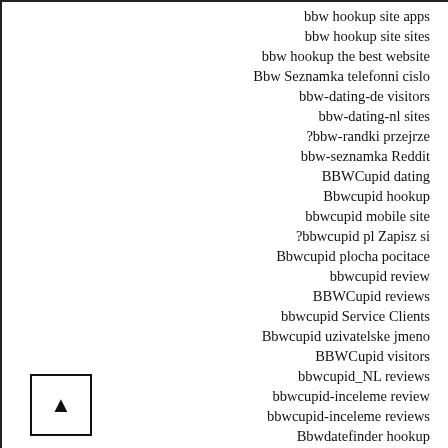bbw hookup site apps
bbw hookup site sites
bbw hookup the best website
Bbw Seznamka telefonni cislo
bbw-dating-de visitors
bbw-dating-nl sites
?bbw-randki przejrze
bbw-seznamka Reddit
BBWCupid dating
Bbwcupid hookup
bbwcupid mobile site
?bbwcupid pl Zapisz si
Bbwcupid plocha pocitace
bbwcupid review
BBWCupid reviews
bbwcupid Service Clients
Bbwcupid uzivatelske jmeno
BBWCupid visitors
bbwcupid_NL reviews
bbwcupid-inceleme review
bbwcupid-inceleme reviews
Bbwdatefinder hookup
bbwdatefinder mee
bbwdatefinder meetic
bbwdatefinder meetic site
bbwdatefinder ne demek
BBWDateFinder online dating